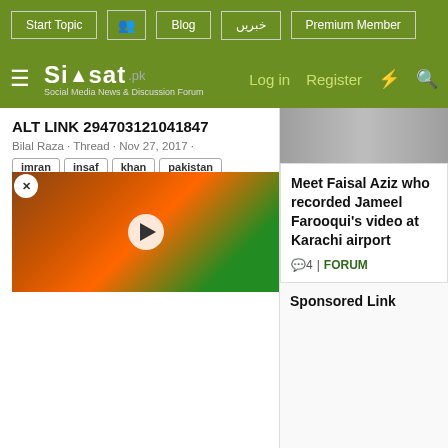Start Topic | Blog | خبریں | Premium Member | Log in | Register
Siasat.pk — Social Media News & Discussion Forum
ALT LINK 294703121041847
Bilal Raza · Thread · Nov 27, 2017
Tags: imran, insaf, khan, pakistan, tehreek · Replies: 5 · Forum: Siasi Videos
Daniyal Aziz On Sheikh Rasheed During Media Talk
?????? ???? ????? ???? ?? ???? ????? ??? ?? ??? ??? ???? ????? ???
May 22, · Forum
[Figure (screenshot): Video thumbnail showing a fire/wildfire scene with a play button overlay]
Meet Faisal Aziz who recorded Jameel Farooqui's video at Karachi airport
4 | FORUM
Sponsored Link